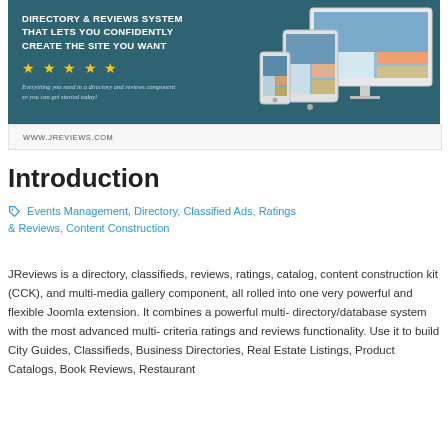[Figure (other): Advertisement banner for JReviews: Directory & Reviews System. Dark teal background with bold white text reading 'DIRECTORY & REVIEWS SYSTEM THAT LETS YOU CONFIDENTLY CREATE THE SITE YOU WANT', five yellow stars, italic subtitle text, and device mockup images (desktop, tablet, phone) on the right. Footer bar shows 'WWW.JREVIEWS.COM'.]
Introduction
Events Management, Directory, Classified Ads, Ratings & Reviews, Content Construction
JReviews is a directory, classifieds, reviews, ratings, catalog, content construction kit (CCK), and multi-media gallery component, all rolled into one very powerful and flexible Joomla extension. It combines a powerful multi-directory/database system with the most advanced multi-criteria ratings and reviews functionality. Use it to build City Guides, Classifieds, Business Directories, Real Estate Listings, Product Catalogs, Book Reviews, Restaurant